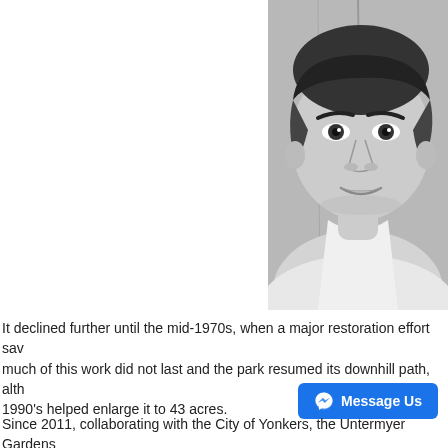[Figure (photo): Black and white close-up portrait photograph of a young man with dark curly hair, looking directly at the camera.]
It declined further until the mid-1970s, when a major restoration effort sav much of this work did not last and the park resumed its downhill path, alth 1990's helped enlarge it to 43 acres.
Since 2011, collaborating with the City of Yonkers, the Untermyer Gardens